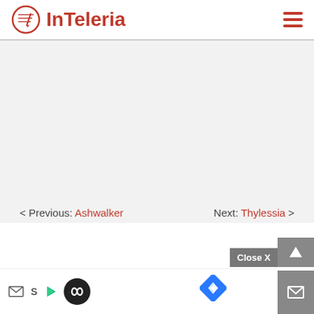[Figure (logo): InTeleria logo with red circle icon and red text]
[Figure (other): Hamburger menu icon (three horizontal red lines)]
< Previous: Ashwalker
Next: Thylessia >
[Figure (screenshot): Bottom toolbar with Close X button, up arrow button, mail button, and ad row with mail icon, S, play icon, infinity circle, and blue diamond arrow]